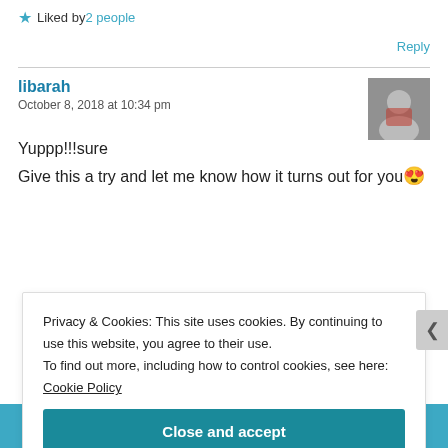★ Liked by 2 people
Reply
libarah
October 8, 2018 at 10:34 pm
Yuppp!!!sure
Give this a try and let me know how it turns out for you😍
Privacy & Cookies: This site uses cookies. By continuing to use this website, you agree to their use.
To find out more, including how to control cookies, see here: Cookie Policy
Close and accept
[Figure (screenshot): Bottom advertisement bar with icons and text 'app you'll ever need.']